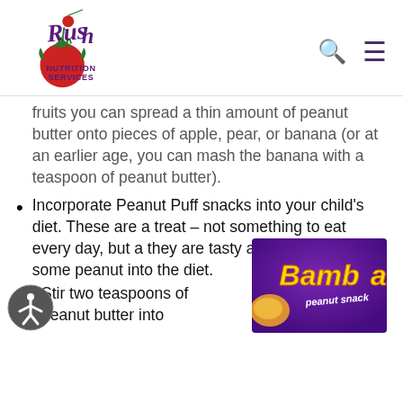Rush Nutrition Services
fruits you can spread a thin amount of peanut butter onto pieces of apple, pear, or banana (or at an earlier age, you can mash the banana with a teaspoon of peanut butter).
Incorporate Peanut Puff snacks into your child's diet. These are a treat – not something to eat every day, but a they are tasty and fun way to get some peanut into the diet.
Stir two teaspoons of peanut butter into
[Figure (photo): Bamba peanut snack product packaging with purple background, yellow 'Bamba' text and 'peanut snack' subtitle]